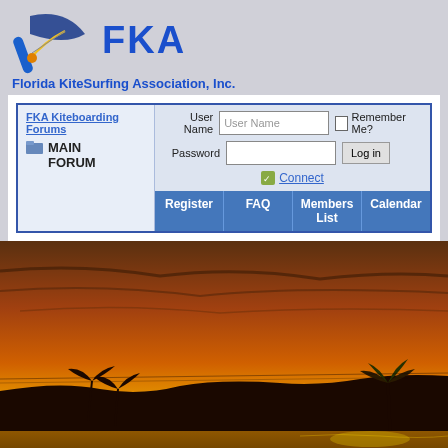[Figure (logo): FKA Florida KiteSurfing Association logo with kite graphic and blue FKA text]
Florida KiteSurfing Association, Inc.
[Figure (screenshot): FKA Kiteboarding Forums login panel with User Name, Password fields, Remember Me checkbox, Log in button, and Connect link. Navigation bar with Register, FAQ, Members List, Calendar.]
[Figure (photo): Tropical beach sunset photograph with silhouetted palm trees and warm orange/golden sky.]